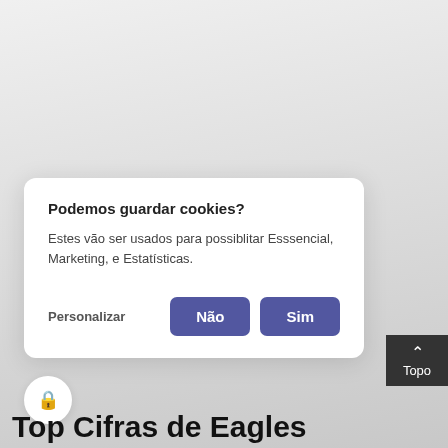Podemos guardar cookies?
Estes vão ser usados para possiblitar Esssencial, Marketing, e Estatísticas.
Personalizar
Não
Sim
[Figure (illustration): Dark square button with upward chevron arrow and label 'Topo']
[Figure (illustration): White circular button with a lock icon in purple/indigo color]
Top Cifras de Eagles